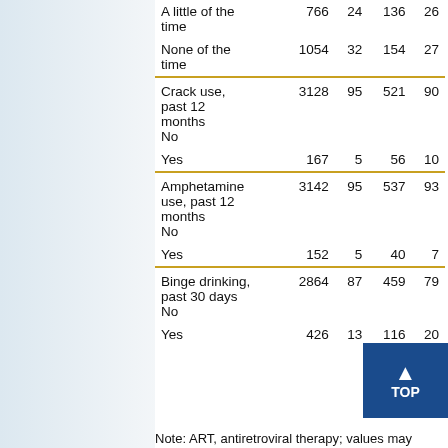|  | N | % | N | % |
| --- | --- | --- | --- | --- |
| A little of the time | 766 | 24 | 136 | 26 |
| None of the time | 1054 | 32 | 154 | 27 |
| Crack use, past 12 months No | 3128 | 95 | 521 | 90 |
| Yes | 167 | 5 | 56 | 10 |
| Amphetamine use, past 12 months No | 3142 | 95 | 537 | 93 |
| Yes | 152 | 5 | 40 | 7 |
| Binge drinking, past 30 days No | 2864 | 87 | 459 | 79 |
| Yes | 426 | 13 | 116 | 20 |
Note: ART, antiretroviral therapy; values may